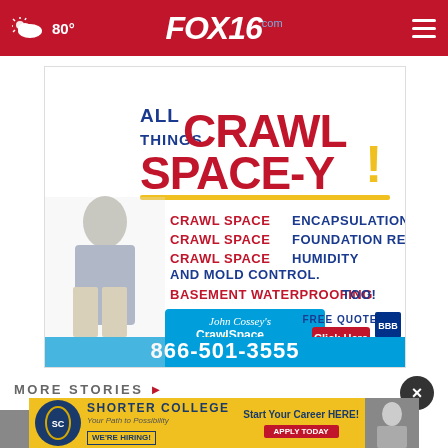80° FOX16.com
[Figure (photo): Advertisement for John Cossey's Crawl Space Solutions of Arkansas. Features text: ALL THINGS CRAWL SPACE-Y! CRAWL SPACE ENCAPSULATION. CRAWL SPACE FOUNDATION REPAIR. CRAWL SPACE HUMIDITY AND MOLD CONTROL. BASEMENT WATERPROOFING TOO! FREE QUOTE Click Here. Phone: 866-501-3555. BBB logo.]
MORE STORIES >
[Figure (photo): Video thumbnail with play icon showing an outdoor scene]
tion
[Figure (infographic): Shorter College advertisement banner: SHORTER COLLEGE, Your Path to Possibility, WE'RE HIRING!, Start Your Career HERE!, APPLY TODAY. Yellow background with college mascot logo and photo of person.]